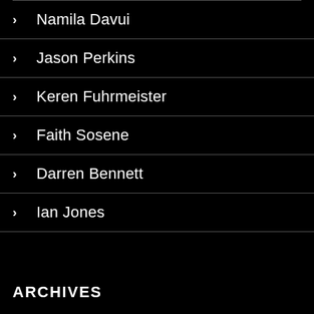Namila Davui
Jason Perkins
Keren Fuhrmeister
Faith Sosene
Darren Bennett
Ian Jones
ARCHIVES